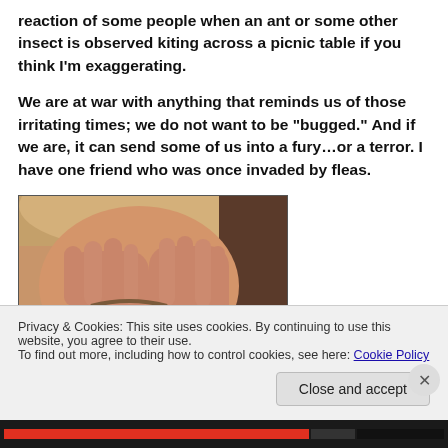reaction of some people when an ant or some other insect is observed kiting across a picnic table if you think I'm exaggerating.
We are at war with anything that reminds us of those irritating times; we do not want to be "bugged." And if we are, it can send some of us into a fury…or a terror. I have one friend who was once invaded by fleas.
[Figure (photo): A person covering their face with both hands, showing distress or anxiety, photographed close-up.]
Privacy & Cookies: This site uses cookies. By continuing to use this website, you agree to their use.
To find out more, including how to control cookies, see here: Cookie Policy
Close and accept